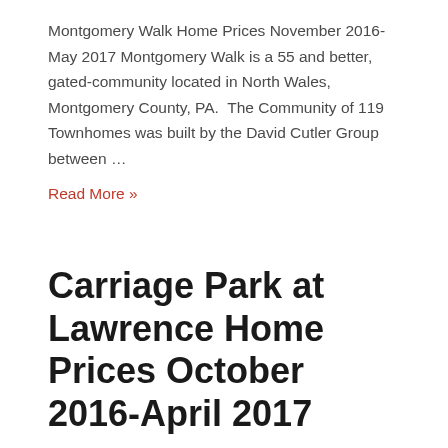Montgomery Walk Home Prices November 2016-May 2017 Montgomery Walk is a 55 and better, gated-community located in North Wales, Montgomery County, PA. The Community of 119 Townhomes was built by the David Cutler Group between …
Read More »
Carriage Park at Lawrence Home Prices October 2016-April 2017
55+ Communites, Carriage Park At Lawrence, Expert Realtors, Home Prices, Lawrenceville, Montgomery County /